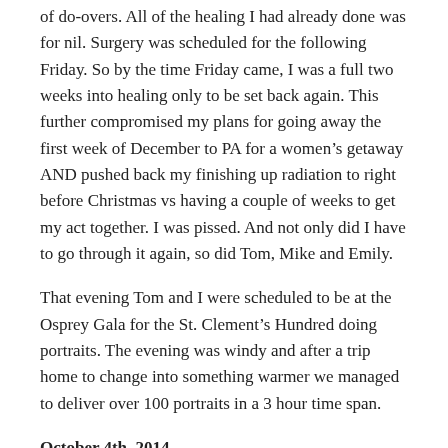of do-overs. All of the healing I had already done was for nil. Surgery was scheduled for the following Friday. So by the time Friday came, I was a full two weeks into healing only to be set back again. This further compromised my plans for going away the first week of December to PA for a women's getaway AND pushed back my finishing up radiation to right before Christmas vs having a couple of weeks to get my act together. I was pissed. And not only did I have to go through it again, so did Tom, Mike and Emily.
That evening Tom and I were scheduled to be at the Osprey Gala for the St. Clement's Hundred doing portraits. The evening was windy and after a trip home to change into something warmer we managed to deliver over 100 portraits in a 3 hour time span.
October 4th, 2014
A little wine and chocolate could cure the world right? Tom and I went to the Sotterly wine festival to sell...